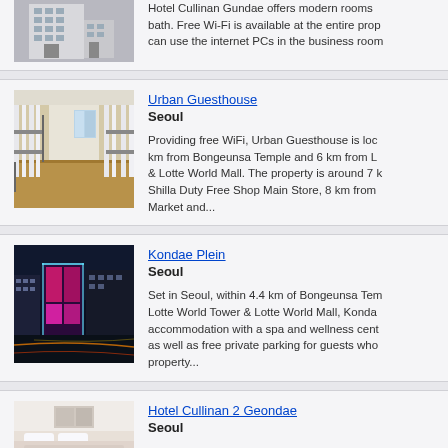[Figure (photo): Hotel Cullinan Gundae building exterior, tall white building]
Hotel Cullinan Gundae offers modern rooms bath. Free Wi-Fi is available at the entire prop can use the internet PCs in the business room
[Figure (photo): Urban Guesthouse interior hallway with bunk beds]
Urban Guesthouse
Seoul
Providing free WiFi, Urban Guesthouse is loc km from Bongeunsa Temple and 6 km from L & Lotte World Mall. The property is around 7 k Shilla Duty Free Shop Main Store, 8 km from Market and...
[Figure (photo): Kondae Plein building at night with colorful pink and purple lights]
Kondae Plein
Seoul
Set in Seoul, within 4.4 km of Bongeunsa Tem Lotte World Tower & Lotte World Mall, Konda accommodation with a spa and wellness cent as well as free private parking for guests who property...
[Figure (photo): Hotel Cullinan 2 Geondae interior room]
Hotel Cullinan 2 Geondae
Seoul